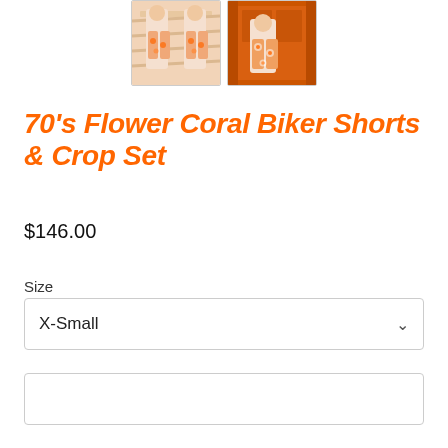[Figure (photo): Two thumbnail product photos showing models wearing the 70's Flower Coral Biker Shorts & Crop Set. Left thumbnail shows two people wearing the floral coral shorts set. Right thumbnail shows a person against an orange door background wearing the same set.]
70's Flower Coral Biker Shorts & Crop Set
$146.00
Size
X-Small